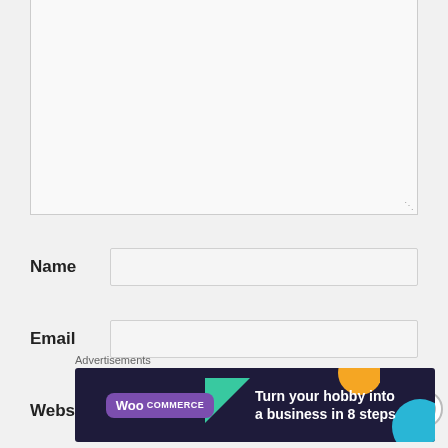[Figure (screenshot): A textarea input box with a resize handle at bottom-right, part of a web comment form. Background is light gray.]
Name
Email
Website
[Figure (screenshot): Close/dismiss button (circled X icon) on the right side]
Advertisements
[Figure (infographic): WooCommerce advertisement banner with dark navy background, colorful geometric shapes (green triangle, orange shape, blue circle), WooCommerce logo in purple speech bubble, and text reading 'Turn your hobby into a business in 8 steps']